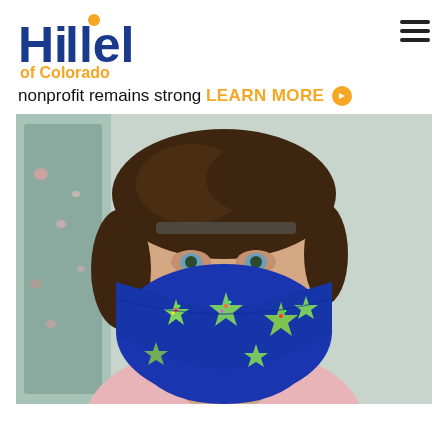[Figure (logo): Hillel of Colorado logo — blue bold text 'Hillel' with an orange dot above the second 'l', and orange text 'of Colorado' below]
nonprofit remains strong LEARN MORE ▶
[Figure (photo): Young man with curly brown hair wearing a blue face mask decorated with colorful star-of-David patterns, wearing a pink shirt, standing in front of a window with heart decorations]